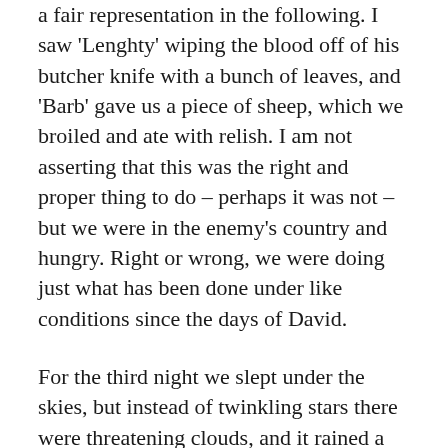a fair representation in the following. I saw 'Lenghty' wiping the blood off of his butcher knife with a bunch of leaves, and 'Barb' gave us a piece of sheep, which we broiled and ate with relish. I am not asserting that this was the right and proper thing to do – perhaps it was not – but we were in the enemy's country and hungry. Right or wrong, we were doing just what has been done under like conditions since the days of David.
For the third night we slept under the skies, but instead of twinkling stars there were threatening clouds, and it rained a little that night and in the early morning. Friday the 19th, we marched to Centreville, where all of Heintzelman's division was brought together; there were also many other troops there. What seemed to us a great army – probably 10,000 or 12,000 men – were gathered there, and more were coming. There was considerable skirmishing going